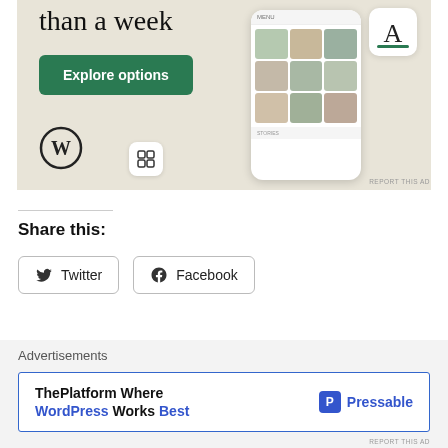[Figure (screenshot): WordPress website builder advertisement banner with beige background, showing 'than a week' heading, 'Explore options' green button, WordPress logo, and phone mockup displaying food website grid]
REPORT THIS AD
Share this:
Twitter
Facebook
Loading...
Advertisements
[Figure (screenshot): Pressable advertisement banner: 'ThePlatform Where WordPress Works Best' with Pressable logo on white background with blue border]